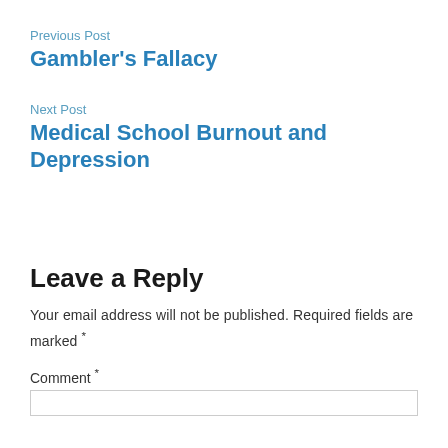Previous Post
Gambler's Fallacy
Next Post
Medical School Burnout and Depression
Leave a Reply
Your email address will not be published. Required fields are marked *
Comment *